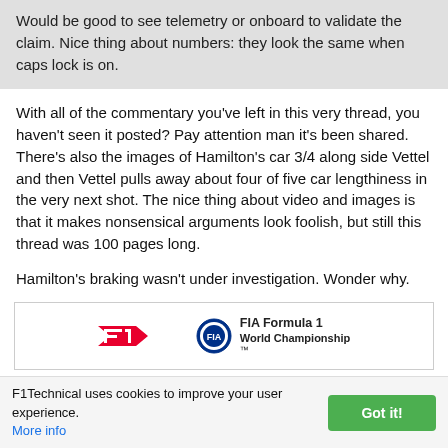Would be good to see telemetry or onboard to validate the claim. Nice thing about numbers: they look the same when caps lock is on.
With all of the commentary you've left in this very thread, you haven't seen it posted? Pay attention man it's been shared. There's also the images of Hamilton's car 3/4 along side Vettel and then Vettel pulls away about four of five car lengthiness in the very next shot. The nice thing about video and images is that it makes nonsensical arguments look foolish, but still this thread was 100 pages long.
Hamilton's braking wasn't under investigation. Wonder why.
[Figure (logo): FIA Formula 1 World Championship logo with red F1 swoosh mark and FIA roundel badge]
F1Technical uses cookies to improve your user experience. More info